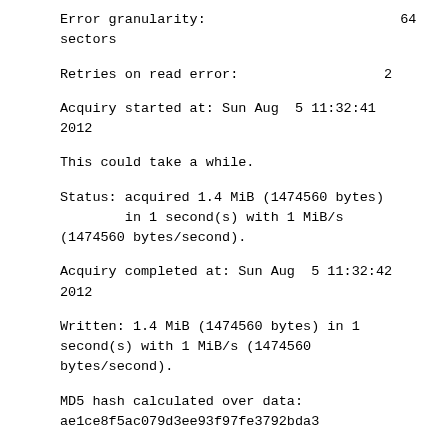Error granularity:                              64
sectors
Retries on read error:                          2
Acquiry started at: Sun Aug  5 11:32:41
2012
This could take a while.
Status: acquired 1.4 MiB (1474560 bytes)
        in 1 second(s) with 1 MiB/s
(1474560 bytes/second).
Acquiry completed at: Sun Aug  5 11:32:42
2012
Written: 1.4 MiB (1474560 bytes) in 1
second(s) with 1 MiB/s (1474560
bytes/second).
MD5 hash calculated over data:
ae1ce8f5ac079d3ee93f97fe3792bda3